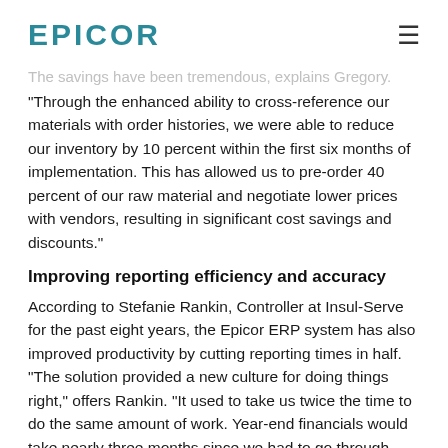EPICOR
The savings have been tremendous, explains Gregory. "Through the enhanced ability to cross-reference our materials with order histories, we were able to reduce our inventory by 10 percent within the first six months of implementation. This has allowed us to pre-order 40 percent of our raw material and negotiate lower prices with vendors, resulting in significant cost savings and discounts."
Improving reporting efficiency and accuracy
According to Stefanie Rankin, Controller at Insul-Serve for the past eight years, the Epicor ERP system has also improved productivity by cutting reporting times in half. "The solution provided a new culture for doing things right," offers Rankin. "It used to take us twice the time to do the same amount of work. Year-end financials would take nearly three months since we had to go through